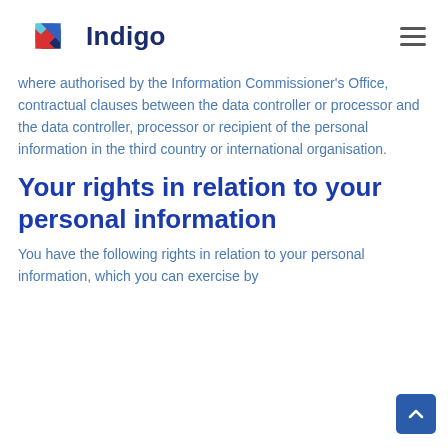Indigo
where authorised by the Information Commissioner's Office, contractual clauses between the data controller or processor and the data controller, processor or recipient of the personal information in the third country or international organisation.
Your rights in relation to your personal information
You have the following rights in relation to your personal information, which you can exercise by...